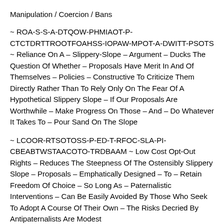Manipulation / Coercion / Bans
~ ROA-S-S-A-DTQOW-PHMIAOT-P-CTCTDRTTROOTFOAHSS-IOPAW-MPOT-A-DWITT-PSOTS ~ Reliance On A – Slippery-Slope – Argument – Ducks The Question Of Whether – Proposals Have Merit In And Of Themselves – Policies – Constructive To Criticize Them Directly Rather Than To Rely Only On The Fear Of A Hypothetical Slippery Slope – If Our Proposals Are Worthwhile – Make Progress On Those – And – Do Whatever It Takes To – Pour Sand On The Slope
~ LCOOR-RTSOTOSS-P-ED-T-RFOC-SLA-PI-CBEABTWSTAACOTO-TRDBAAM ~ Low Cost Opt-Out Rights – Reduces The Steepness Of The Ostensibly Slippery Slope – Proposals – Emphatically Designed – To – Retain Freedom Of Choice – So Long As – Paternalistic Interventions – Can Be Easily Avoided By Those Who Seek To Adopt A Course Of Their Own – The Risks Decried By Antipaternalists Are Modest
~ IMC-SKONII-A-CA-W-POP-MDS ~ In Many Cases – Some